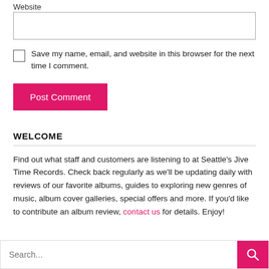Website
Save my name, email, and website in this browser for the next time I comment.
Post Comment
WELCOME
Find out what staff and customers are listening to at Seattle’s Jive Time Records. Check back regularly as we’ll be updating daily with reviews of our favorite albums, guides to exploring new genres of music, album cover galleries, special offers and more. If you’d like to contribute an album review, contact us for details. Enjoy!
Search...